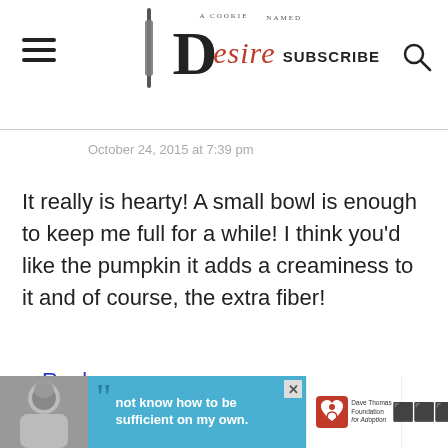A Cookie Named Desire — SUBSCRIBE [search icon]
October 24, 2015 at 7:39 pm
It really is hearty! A small bowl is enough to keep me full for a while! I think you'd like the pumpkin it adds a creaminess to it and of course, the extra fiber!
Reply
[Figure (advertisement): Ad banner at the bottom: photo of a person on left, blue background with quote text 'not know how to be sufficient on my own.' and Dave Thomas Foundation for Adoption logo on right.]